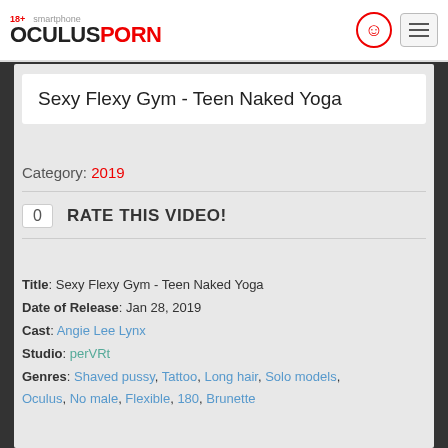OCULUSPORN — smartphone — 18+
Sexy Flexy Gym - Teen Naked Yoga
Category: 2019
0   RATE THIS VIDEO!
Title: Sexy Flexy Gym - Teen Naked Yoga
Date of Release: Jan 28, 2019
Cast: Angie Lee Lynx
Studio: perVRt
Genres: Shaved pussy, Tattoo, Long hair, Solo models, Oculus, No male, Flexible, 180, Brunette
Description: Angie Lee Lynx is as flexible as her namesake when she puts on her bodysuit and does some yoga on the